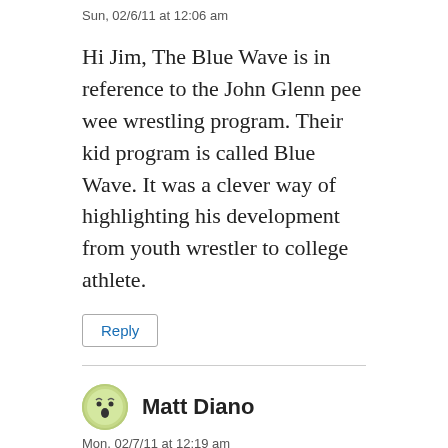Sun, 02/6/11 at 12:06 am
Hi Jim, The Blue Wave is in reference to the John Glenn pee wee wrestling program. Their kid program is called Blue Wave. It was a clever way of highlighting his development from youth wrestler to college athlete.
Reply
Matt Diano
Mon, 02/7/11 at 12:19 am
http://www.bluewavewrestling.org/
Reply